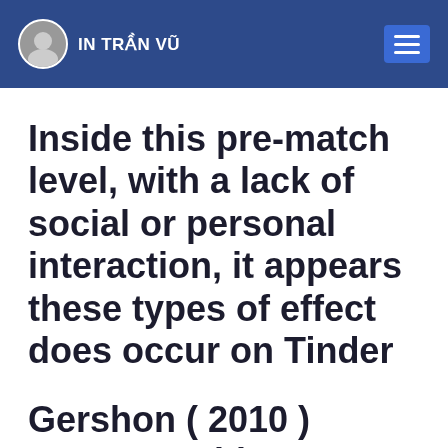IN TRẦN VŨ
Inside this pre-match level, with a lack of social or personal interaction, it appears these types of effect does occur on Tinder
Gershon ( 2010 ) represent this as a€?